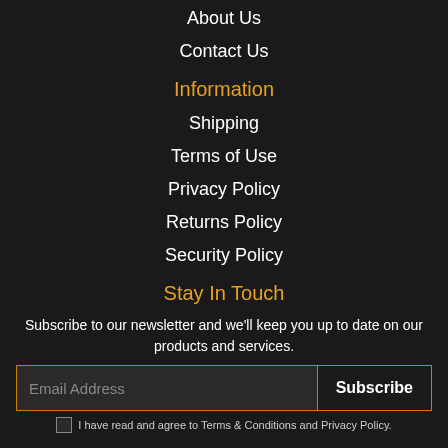About Us
Contact Us
Information
Shipping
Terms of Use
Privacy Policy
Returns Policy
Security Policy
Stay In Touch
Subscribe to our newsletter and we'll keep you up to date on our products and services.
Email Address  Subscribe
I have read and agree to Terms & Conditions and Privacy Policy.